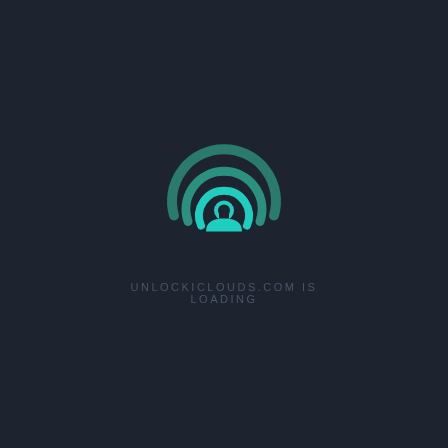[Figure (logo): Circular logo with concentric arcs in teal/cyan gradient colors forming a wifi-like or signal icon with a rounded bottom, resembling a lock or signal mark. Outer arc is dark teal, inner arc is bright cyan/turquoise.]
UNLOCKICLOUDS.COM IS LOADING